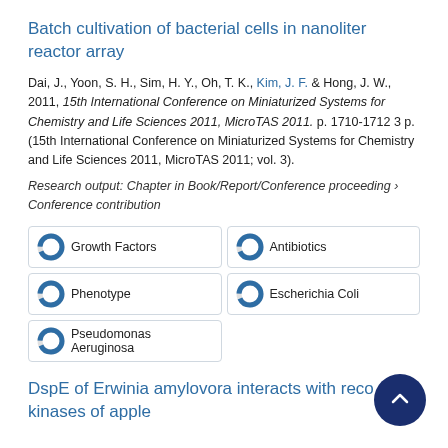Batch cultivation of bacterial cells in nanoliter reactor array
Dai, J., Yoon, S. H., Sim, H. Y., Oh, T. K., Kim, J. F. & Hong, J. W., 2011, 15th International Conference on Miniaturized Systems for Chemistry and Life Sciences 2011, MicroTAS 2011. p. 1710-1712 3 p. (15th International Conference on Miniaturized Systems for Chemistry and Life Sciences 2011, MicroTAS 2011; vol. 3).
Research output: Chapter in Book/Report/Conference proceeding › Conference contribution
Growth Factors
Antibiotics
Phenotype
Escherichia Coli
Pseudomonas Aeruginosa
DspE of Erwinia amylovora interacts with receptor kinases of apple